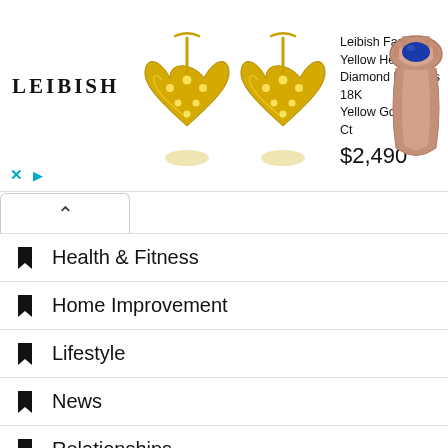[Figure (infographic): Advertisement banner for Leibish Fancy Yellow Heart Diamond Earrings 18K Yellow Gold 0.66 Ct priced at $2,490. Shows LEIBISH logo, two yellow heart-shaped diamond earrings, product description text, price, and a rose gold ring with blue sapphire on the right.]
Health & Fitness
Home Improvement
Lifestyle
News
Relationships
Sci-Tech